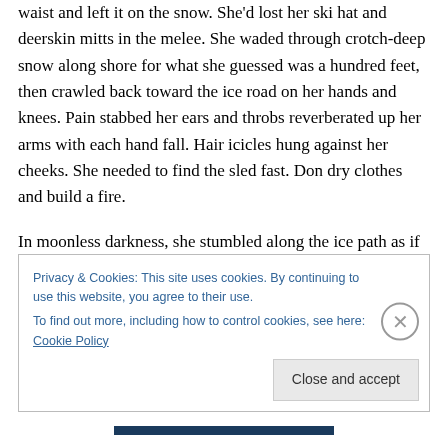waist and left it on the snow. She'd lost her ski hat and deerskin mitts in the melee. She waded through crotch-deep snow along shore for what she guessed was a hundred feet, then crawled back toward the ice road on her hands and knees. Pain stabbed her ears and throbs reverberated up her arms with each hand fall. Hair icicles hung against her cheeks. She needed to find the sled fast. Don dry clothes and build a fire.
In moonless darkness, she stumbled along the ice path as if blind, shuffling, dragging her right foot, trying to divine
Privacy & Cookies: This site uses cookies. By continuing to use this website, you agree to their use.
To find out more, including how to control cookies, see here: Cookie Policy
Close and accept